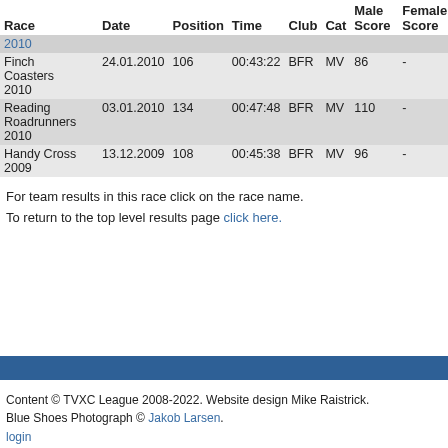| Race | Date | Position | Time | Club | Cat | Male Score | Female Score | Comment |
| --- | --- | --- | --- | --- | --- | --- | --- | --- |
| 2010 |  |  |  |  |  |  |  |  |
| Finch Coasters 2010 | 24.01.2010 | 106 | 00:43:22 | BFR | MV | 86 | - |  |
| Reading Roadrunners 2010 | 03.01.2010 | 134 | 00:47:48 | BFR | MV | 110 | - |  |
| Handy Cross 2009 | 13.12.2009 | 108 | 00:45:38 | BFR | MV | 96 | - |  |
For team results in this race click on the race name.
To return to the top level results page click here.
Content © TVXC League 2008-2022. Website design Mike Raistrick. Blue Shoes Photograph © Jakob Larsen. login